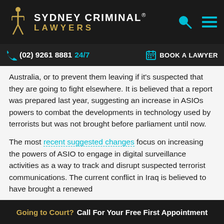SYDNEY CRIMINAL® LAWYERS
(02) 9261 8881 24/7  BOOK A LAWYER
Australia, or to prevent them leaving if it's suspected that they are going to fight elsewhere. It is believed that a report was prepared last year, suggesting an increase in ASIOs powers to combat the developments in technology used by terrorists but was not brought before parliament until now.
The most recent suggested changes focus on increasing the powers of ASIO to engage in digital surveillance activities as a way to track and disrupt suspected terrorist communications. The current conflict in Iraq is believed to have brought a renewed
Going to Court? Call For Your Free First Appointment